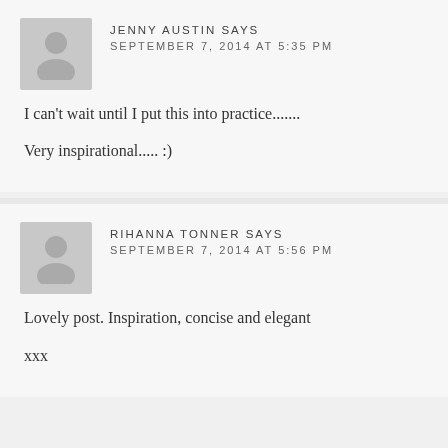JENNY AUSTIN SAYS
SEPTEMBER 7, 2014 AT 5:35 PM
I can't wait until I put this into practice.......

Very inspirational..... :)
RIHANNA TONNER SAYS
SEPTEMBER 7, 2014 AT 5:56 PM
Lovely post. Inspiration, concise and elegant

xxx